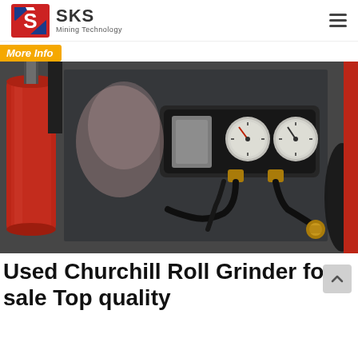SKS Mining Technology
More Info
[Figure (photo): Close-up photo of industrial mining/grinding equipment showing a red hydraulic cylinder on the left, pressure gauges and valves mounted on a dark grey metal panel, black hydraulic hoses with brass fittings, and a black coiled hose on the right side. Equipment appears to be a roll grinder machine.]
Used Churchill Roll Grinder for sale Top quality